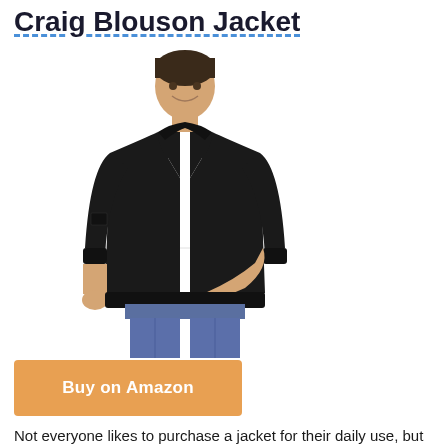Craig Blouson Jacket
[Figure (photo): Man wearing a black blouson/bomber jacket open over a white t-shirt and blue jeans, smiling, white background]
Buy on Amazon
Not everyone likes to purchase a jacket for their daily use, but there are so Craig blouson jackets